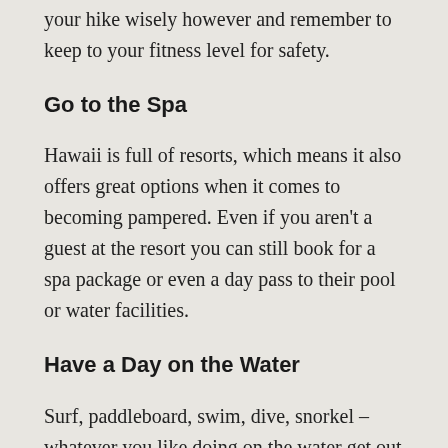your hike wisely however and remember to keep to your fitness level for safety.
Go to the Spa
Hawaii is full of resorts, which means it also offers great options when it comes to becoming pampered. Even if you aren't a guest at the resort you can still book for a spa package or even a day pass to their pool or water facilities.
Have a Day on the Water
Surf, paddleboard, swim, dive, snorkel – whatever you like doing on the water get out there. Try something different or just enjoy floating in the gentle tides of an isolated bay. With so many stunning beaches having a day out on the water that is full of fun and sun is a must for your honeymoon.